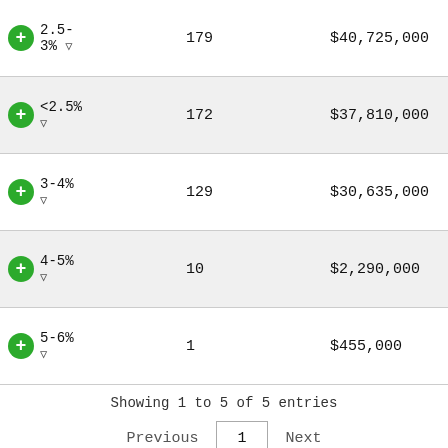| Rate | Count | Amount |
| --- | --- | --- |
| 2.5-3% | 179 | $40,725,000 |
| <2.5% | 172 | $37,810,000 |
| 3-4% | 129 | $30,635,000 |
| 4-5% | 10 | $2,290,000 |
| 5-6% | 1 | $455,000 |
Showing 1 to 5 of 5 entries
Previous  1  Next
During 2021, Siwell 's average interest rate for loans was